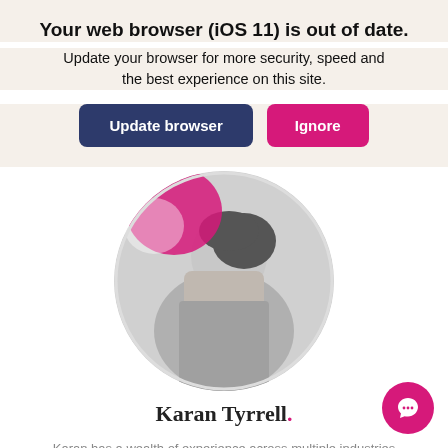Your web browser (iOS 11) is out of date.
Update your browser for more security, speed and the best experience on this site.
Update browser | Ignore
[Figure (photo): Circular cropped photo of a woman with dark hair wearing a grey shirt, with a pink/magenta graphic element in the upper left, shown in black and white]
Karan Tyrrell.
Karan has a wealth of experience across multiple industries in client relationship management. She has a passion for problem solving with the highest attention to detail and an innate ability to go above and beyond to ensure you've what you need.
Finance Specialist